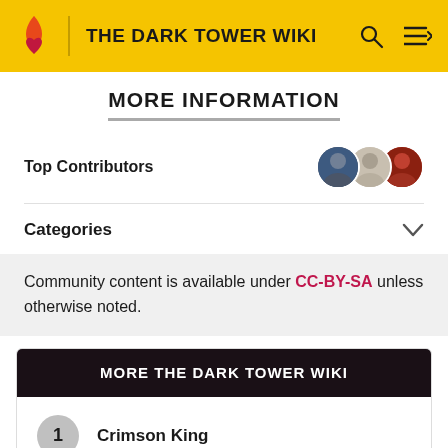THE DARK TOWER WIKI
MORE INFORMATION
Top Contributors
Categories
Community content is available under CC-BY-SA unless otherwise noted.
MORE THE DARK TOWER WIKI
1 Crimson King